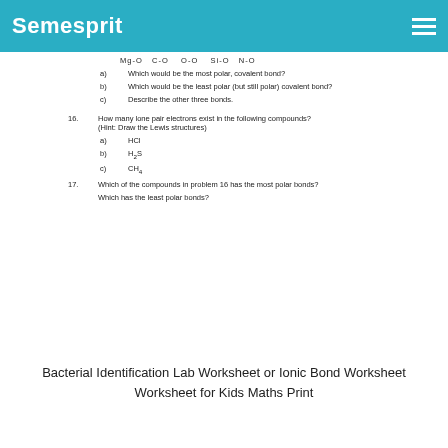Semesprit
Mg-O  C-O   O-O   Si-O  N-O
a)  Which would be the most polar, covalent bond?
b)  Which would be the least polar (but still polar) covalent bond?
c)  Describe the other three bonds.
16.  How many lone pair electrons exist in the following compounds? (Hint: Draw the Lewis structures)
a)  HCl
b)  H₂S
c)  CH₄
17.  Which of the compounds in problem 16 has the most polar bonds?
Which has the least polar bonds?
Bacterial Identification Lab Worksheet or Ionic Bond Worksheet Worksheet for Kids Maths Print